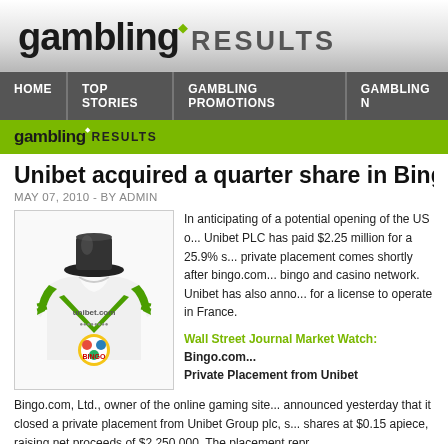gambling RESULTS
HOME  TOP STORIES  GAMBLING PROMOTIONS  GAMBLING N
gambling RESULTS
Unibet acquired a quarter share in Bingo
MAY 07, 2010 - BY ADMIN
[Figure (illustration): Unibet cycling jersey with BINGO text and top hat graphic]
In anticipating of a potential opening of the US o... Unibet PLC has paid $2.25 million for a 25.9% s... private placement comes shortly after bingo.com... bingo and casino network. Unibet has also anno... for a license to operate in France.
Wall Street Journal Market Watch: Bingo.com... Private Placement from Unibet
Bingo.com, Ltd., owner of the online gaming site... announced yesterday that it closed a private placement from Unibet Group plc, s... shares at $0.15 apiece, raising net proceeds of $2,250,000. The placement repr...